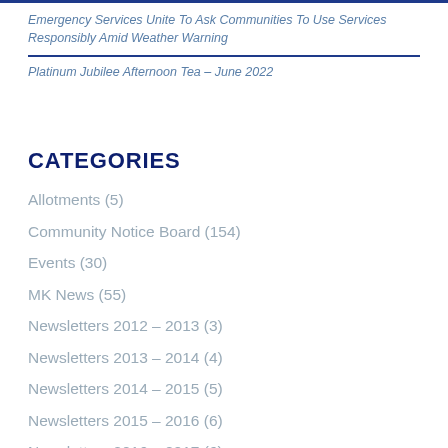Emergency Services Unite To Ask Communities To Use Services Responsibly Amid Weather Warning
Platinum Jubilee Afternoon Tea – June 2022
CATEGORIES
Allotments (5)
Community Notice Board (154)
Events (30)
MK News (55)
Newsletters 2012 – 2013 (3)
Newsletters 2013 – 2014 (4)
Newsletters 2014 – 2015 (5)
Newsletters 2015 – 2016 (6)
Newsletters 2016 – 2017 (6)
Newsletters 2017 – 2018 (5)